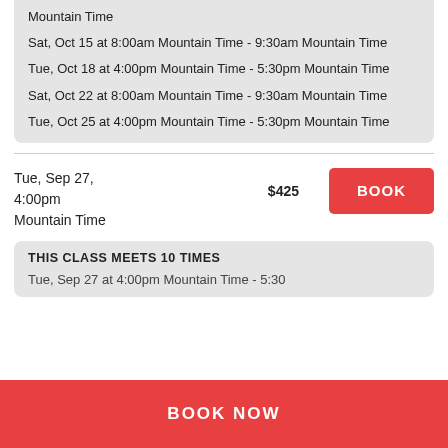Mountain Time
Sat, Oct 15 at 8:00am Mountain Time - 9:30am Mountain Time
Tue, Oct 18 at 4:00pm Mountain Time - 5:30pm Mountain Time
Sat, Oct 22 at 8:00am Mountain Time - 9:30am Mountain Time
Tue, Oct 25 at 4:00pm Mountain Time - 5:30pm Mountain Time
Tue, Sep 27, 4:00pm Mountain Time
$425
BOOK
THIS CLASS MEETS 10 TIMES
Tue, Sep 27 at 4:00pm Mountain Time - 5:30
BOOK NOW